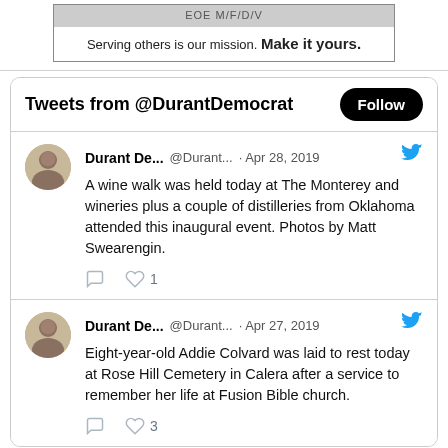[Figure (other): Advertisement banner: top gray area with partial text 'EOE M/F/D/V', bottom white area with text 'Serving others is our mission. Make it yours.']
Serving others is our mission. Make it yours.
Tweets from @DurantDemocrat
Durant De... @Durant... · Apr 28, 2019 — A wine walk was held today at The Monterey and wineries plus a couple of distilleries from Oklahoma attended this inaugural event. Photos by Matt Swearengin.
Durant De... @Durant... · Apr 27, 2019 — Eight-year-old Addie Colvard was laid to rest today at Rose Hill Cemetery in Calera after a service to remember her life at Fusion Bible church.